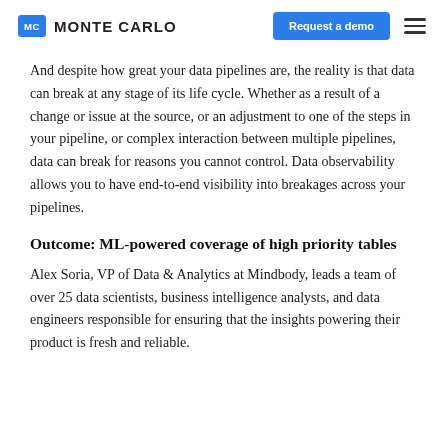MC MONTE CARLO | Request a demo
And despite how great your data pipelines are, the reality is that data can break at any stage of its life cycle. Whether as a result of a change or issue at the source, or an adjustment to one of the steps in your pipeline, or complex interaction between multiple pipelines, data can break for reasons you cannot control. Data observability allows you to have end-to-end visibility into breakages across your pipelines.
Outcome: ML-powered coverage of high priority tables
Alex Soria, VP of Data & Analytics at Mindbody, leads a team of over 25 data scientists, business intelligence analysts, and data engineers responsible for ensuring that the insights powering their product is fresh and reliable.